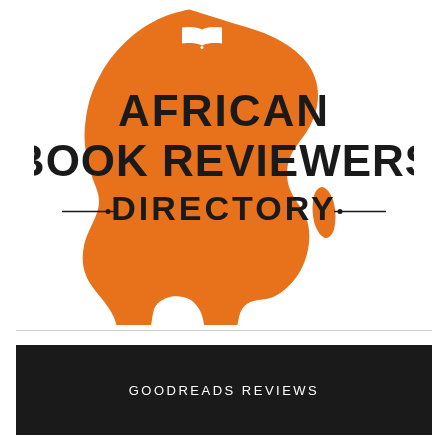[Figure (logo): African Book Reviewers Directory logo: orange silhouette of Africa with a white open book icon at the top, and bold black text reading AFRICAN BOOK REVIEWERS DIRECTORY with decorative horizontal lines flanking DIRECTORY]
GOODREADS REVIEWS